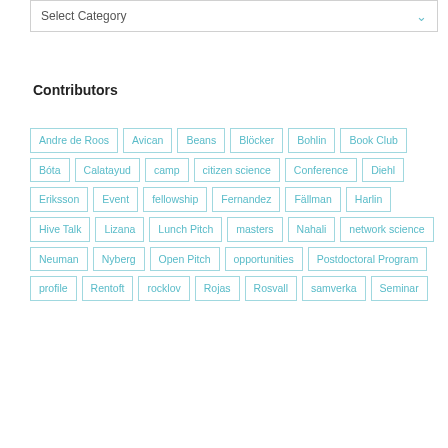[Figure (screenshot): Select Category dropdown box with arrow icon]
Contributors
Andre de Roos
Avican
Beans
Blöcker
Bohlin
Book Club
Bóta
Calatayud
camp
citizen science
Conference
Diehl
Eriksson
Event
fellowship
Fernandez
Fällman
Harlin
Hive Talk
Lizana
Lunch Pitch
masters
Nahali
network science
Neuman
Nyberg
Open Pitch
opportunities
Postdoctoral Program
profile
Rentoft
rocklov
Rojas
Rosvall
samverka
Seminar